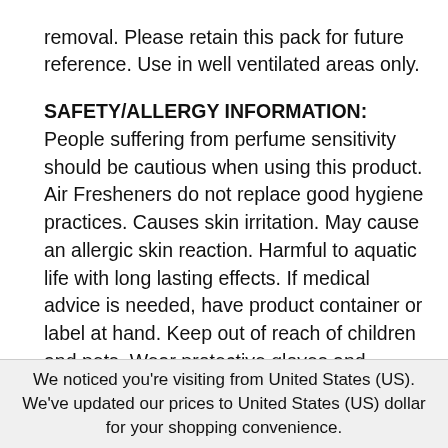removal. Please retain this pack for future reference. Use in well ventilated areas only.
SAFETY/ALLERGY INFORMATION: People suffering from perfume sensitivity should be cautious when using this product. Air Fresheners do not replace good hygiene practices. Causes skin irritation. May cause an allergic skin reaction. Harmful to aquatic life with long lasting effects. If medical advice is needed, have product container or label at hand. Keep out of reach of children and pets. Wear protective gloves and eye/face protection. IF IN
We noticed you're visiting from United States (US). We've updated our prices to United States (US) dollar for your shopping convenience.